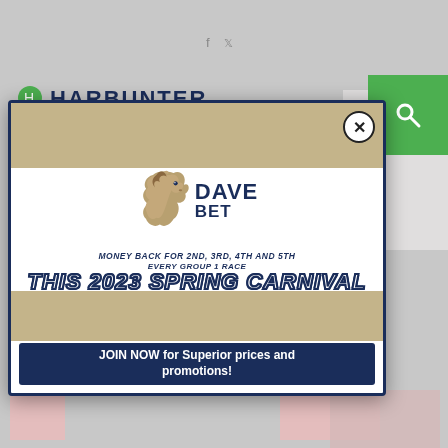[Figure (screenshot): DaveBet advertisement modal overlay on a website. Contains horse logo, promotional text for 2023 Spring Carnival money back offer, and a CTA button to join.]
MONEY BACK FOR 2ND, 3RD, 4TH AND 5TH EVERY GROUP 1 RACE
THIS 2023 SPRING CARNIVAL
*UP TO $50 IN BONUS BETS. Existing customers only. Eligible customers only. Return in bonus bets, bonus bets must be used within 7 days. Excl WA & SA. T&Cs apply. Gamble responsibly.
JOIN NOW for Superior prices and promotions!